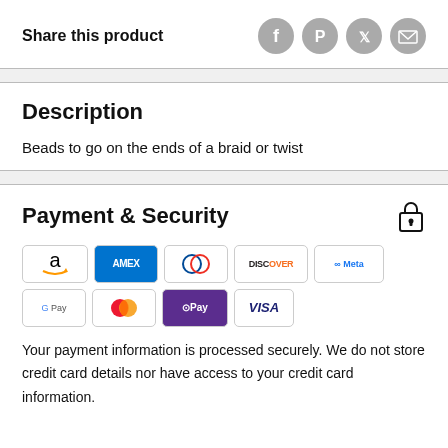Share this product
[Figure (infographic): Social sharing icons: Facebook, Pinterest, Twitter, Email]
Description
Beads to go on the ends of a braid or twist
Payment & Security
[Figure (infographic): Payment method badges: Amazon, Amex, Diners Club, Discover, Meta Pay, Google Pay, Mastercard, OPay, Visa]
Your payment information is processed securely. We do not store credit card details nor have access to your credit card information.